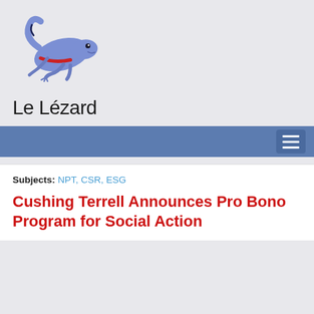[Figure (logo): Le Lézard website logo: a blue/purple lizard with a red underbelly, illustrated cartoon style]
Le Lézard
Subjects: NPT, CSR, ESG
Cushing Terrell Announces Pro Bono Program for Social Action